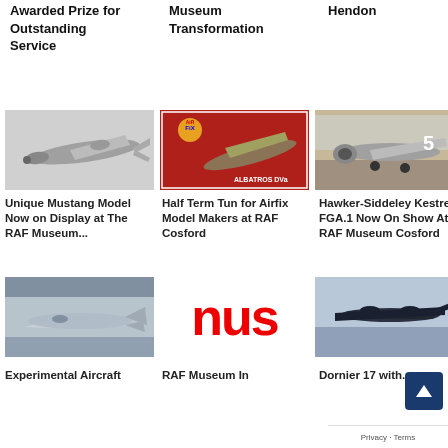Awarded Prize for Outstanding Service
Museum Transformation
Hendon
[Figure (photo): Pencil sketch / illustration of a WWII Mustang aircraft in flight, light grey background]
[Figure (photo): Airfix model box for Albatros DVa, red and colorful packaging]
[Figure (photo): Hawker-Siddeley Kestrel FGA.1 jet aircraft on display indoors, number 5 on fuselage]
Unique Mustang Model Now on Display at The RAF Museum...
Half Term Tun for Airfix Model Makers at RAF Cosford
Hawker-Siddeley Kestrel FGA.1 Now On Show At RAF Museum Cosford
[Figure (photo): Experimental aircraft on display in a hangar, sleek futuristic design]
[Figure (logo): Red NUS logo text on white background]
[Figure (photo): Dornier 17 aircraft silhouette or model, dark monochrome]
Experimental Aircraft
RAF Museum In
Dornier 17 with...